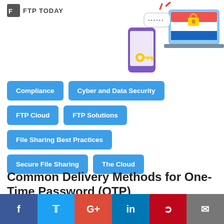FTP TODAY
[Figure (illustration): Illustration of a smartphone with a key/lock and a laptop with a padlock suggesting secure file transfer/OTP concept]
Compliance
Cyber and Data Security
FTP Cloud
FTP Solutions
File Sharing Best Practices
Secure File Sharing
The Cloud
Common Delivery Methods for One-Time Password (OTP)
f  twitter  G+  in  pinterest  email